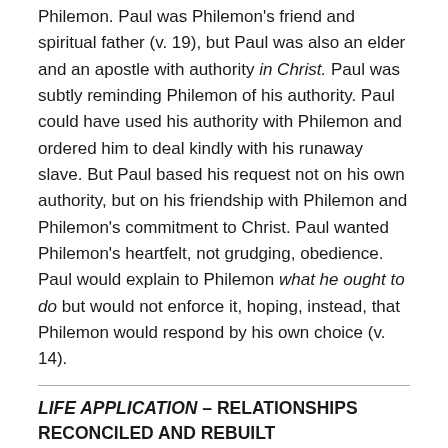Philemon. Paul was Philemon's friend and spiritual father (v. 19), but Paul was also an elder and an apostle with authority in Christ. Paul was subtly reminding Philemon of his authority. Paul could have used his authority with Philemon and ordered him to deal kindly with his runaway slave. But Paul based his request not on his own authority, but on his friendship with Philemon and Philemon's commitment to Christ. Paul wanted Philemon's heartfelt, not grudging, obedience. Paul would explain to Philemon what he ought to do but would not enforce it, hoping, instead, that Philemon would respond by his own choice (v. 14).
LIFE APPLICATION – RELATIONSHIPS RECONCILED AND REBUILT
Paul provides a good example of how to deal with